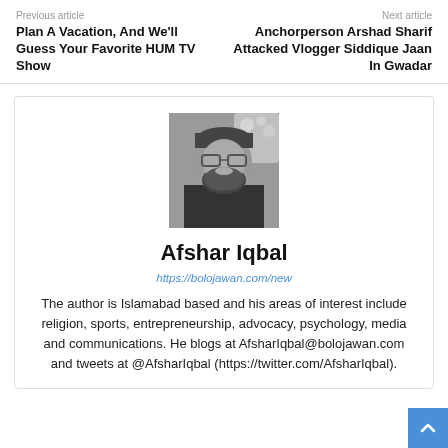Previous article
Next article
Plan A Vacation, And We'll Guess Your Favorite HUM TV Show
Anchorperson Arshad Sharif Attacked Vlogger Siddique Jaan In Gwadar
[Figure (photo): Black and white portrait photo of Afshar Iqbal, a bearded man wearing glasses and dark clothing]
Afshar Iqbal
https://bolojawan.com/new
The author is Islamabad based and his areas of interest include religion, sports, entrepreneurship, advocacy, psychology, media and communications. He blogs at AfsharIqbal@bolojawan.com and tweets at @AfsharIqbal (https://twitter.com/AfsharIqbal).